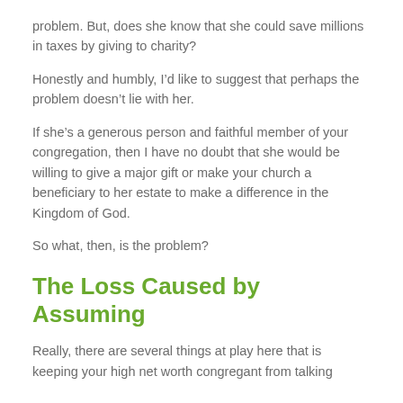problem. But, does she know that she could save millions in taxes by giving to charity?
Honestly and humbly, I’d like to suggest that perhaps the problem doesn’t lie with her.
If she’s a generous person and faithful member of your congregation, then I have no doubt that she would be willing to give a major gift or make your church a beneficiary to her estate to make a difference in the Kingdom of God.
So what, then, is the problem?
The Loss Caused by Assuming
Really, there are several things at play here that is keeping your high net worth congregant from talking